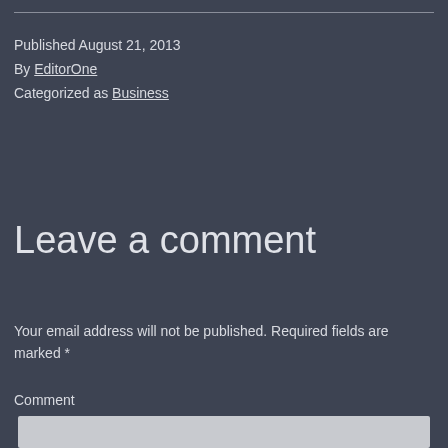Published August 21, 2013
By EditorOne
Categorized as Business
Leave a comment
Your email address will not be published. Required fields are marked *
Comment